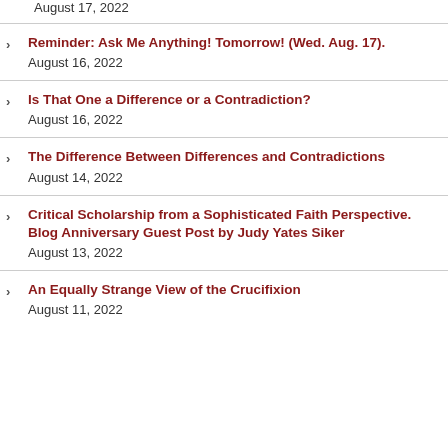August 17, 2022
Reminder: Ask Me Anything! Tomorrow! (Wed. Aug. 17).
August 16, 2022
Is That One a Difference or a Contradiction?
August 16, 2022
The Difference Between Differences and Contradictions
August 14, 2022
Critical Scholarship from a Sophisticated Faith Perspective. Blog Anniversary Guest Post by Judy Yates Siker
August 13, 2022
An Equally Strange View of the Crucifixion
August 11, 2022